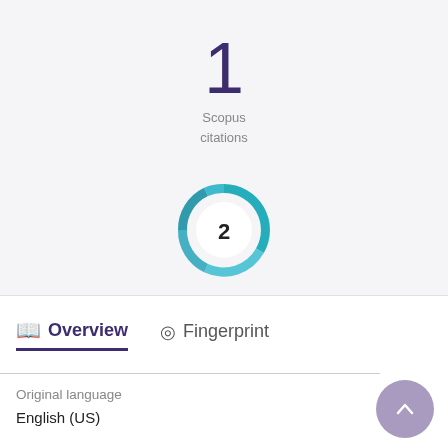1
Scopus citations
[Figure (other): Altmetric donut badge showing the number 2 in the center with a teal/blue swirl ring around it]
Overview
Fingerprint
Original language
English (US)